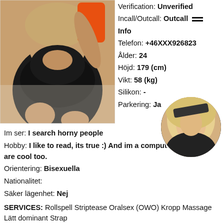[Figure (photo): Woman in black lace bodysuit taking mirror selfie]
Verification: Unverified
Incall/Outcall: Outcall
Info
Telefon: +46XXX926823
Ålder: 24
Höjd: 179 (cm)
Vikt: 58 (kg)
Silikon: -
Parkering: Ja
Im ser: I search horny people
Hobby: I like to read, its true :) And im a computer geek, cars are cool too.
Orientering: Bisexuella
Nationalitet:
Säker lägenhet: Nej
SERVICES: Rollspell Striptease Oralsex (OWO) Kropp Massage Lätt dominant Strap Analrov Penismassage Erfarenhet av flickvän (GFE)
[Figure (photo): Thumbnail circular photo of blonde woman smiling]